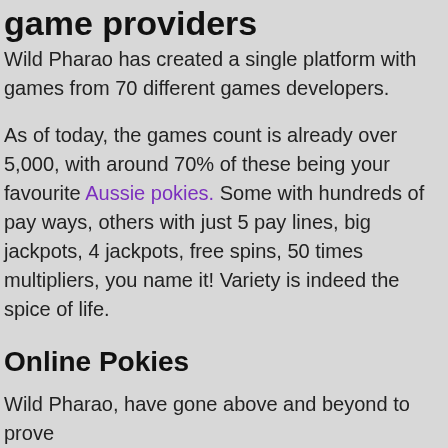game providers
Wild Pharao has created a single platform with games from 70 different games developers.
As of today, the games count is already over 5,000, with around 70% of these being your favourite Aussie pokies. Some with hundreds of pay ways, others with just 5 pay lines, big jackpots, 4 jackpots, free spins, 50 times multipliers, you name it! Variety is indeed the spice of life.
Online Pokies
Wild Pharao, have gone above and beyond to prove